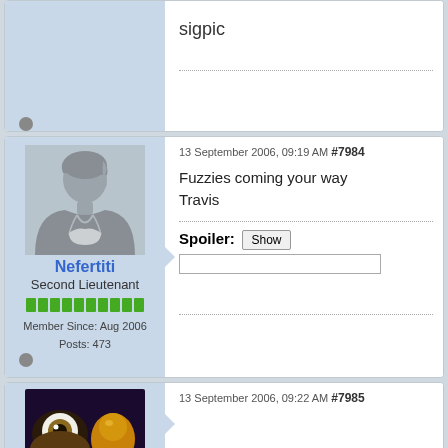[Figure (screenshot): Top partial forum post showing sigpic text and offline dot indicator in left sidebar]
sigpic
[Figure (photo): Default avatar silhouette of a person (gray placeholder)]
Nefertiti
Second Lieutenant
Member Since: Aug 2006
Posts: 473
13 September 2006, 09:19 AM #7984
Fuzzies coming your way Travis
Spoiler: Show
13 September 2006, 09:22 AM #7985